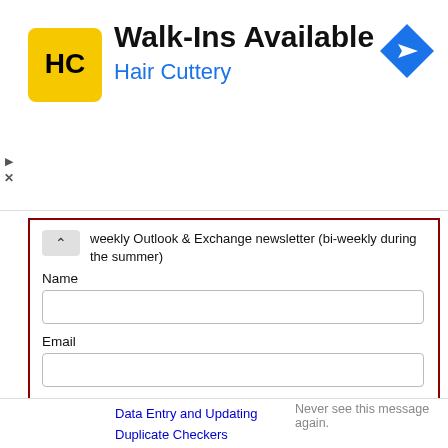[Figure (logo): Hair Cuttery advertisement banner with HC logo, text 'Walk-Ins Available' and 'Hair Cuttery', and a navigation/directions icon in top right]
weekly Outlook & Exchange newsletter (bi-weekly during the summer)
Name
Email
SUBMIT
Please note: If you subscribed to Exchange Messaging Outlook before August 2019, please re-subscribe.
Data Entry and Updating
Never see this message again.
Duplicate Checkers